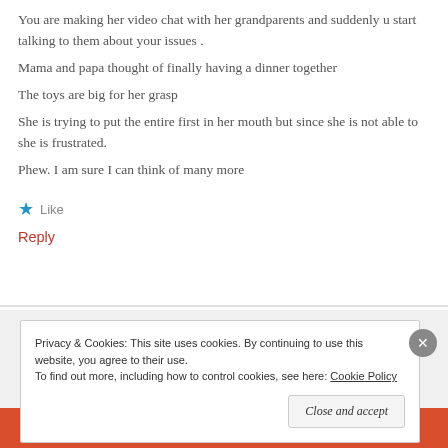You are making her video chat with her grandparents and suddenly u start talking to them about your issues . Mama and papa thought of finally having a dinner together The toys are big for her grasp She is trying to put the entire first in her mouth but since she is not able to she is frustrated. Phew. I am sure I can think of many more
★ Like
Reply
Privacy & Cookies: This site uses cookies. By continuing to use this website, you agree to their use. To find out more, including how to control cookies, see here: Cookie Policy
Close and accept